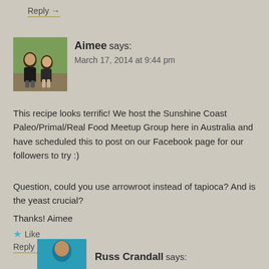Reply →
[Figure (photo): Avatar photo of two people (a man and a woman) sitting outdoors among green foliage]
Aimee says:
March 17, 2014 at 9:44 pm
This recipe looks terrific! We host the Sunshine Coast Paleo/Primal/Real Food Meetup Group here in Australia and have scheduled this to post on our Facebook page for our followers to try :)
Question, could you use arrowroot instead of tapioca? And is the yeast crucial?
Thanks! Aimee
★ Like
Reply →
[Figure (photo): Avatar photo partially visible at bottom, teal/blue background]
Russ Crandall says: